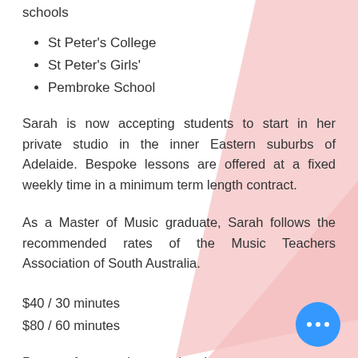schools
St Peter's College
St Peter's Girls'
Pembroke School
Sarah is now accepting students to start in her private studio in the inner Eastern suburbs of Adelaide. Bespoke lessons are offered at a fixed weekly time in a minimum term length contract.
As a Master of Music graduate, Sarah follows the recommended rates of the Music Teachers Association of South Australia.
$40 / 30 minutes
$80 / 60 minutes
Pro-rata fees can be negotiated on